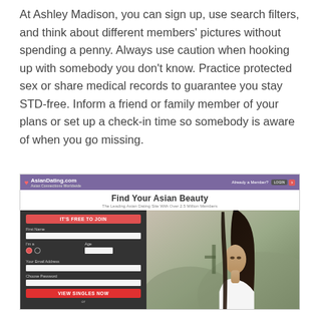At Ashley Madison, you can sign up, use search filters, and think about different members' pictures without spending a penny. Always use caution when hooking up with somebody you don't know. Practice protected sex or share medical records to guarantee you stay STD-free. Inform a friend or family member of your plans or set up a check-in time so somebody is aware of when you go missing.
[Figure (screenshot): Screenshot of AsianDating.com website showing purple navigation bar with logo and login button, white header with 'Find Your Asian Beauty' title and subtitle 'The Leading Asian Dating Site With Over 2.5 Million Members', and main content area with registration form on dark background (IT'S FREE TO JOIN form with First Name, I'm a, Age, Your Email Address, Choose Password fields, and VIEW SINGLES NOW button) alongside photo of an Asian woman with long dark hair wearing a white off-shoulder top.]